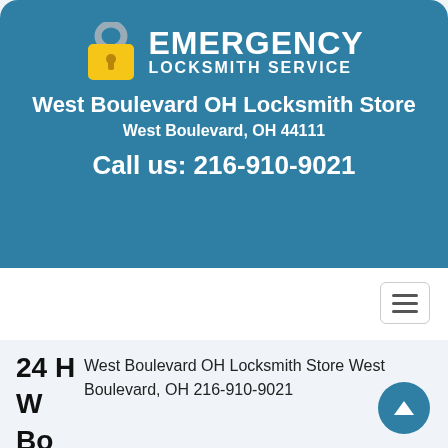[Figure (logo): Emergency Locksmith Service logo with padlock icon]
West Boulevard OH Locksmith Store
West Boulevard, OH 44111
Call us: 216-910-9021
24 H
W
Bo
West Boulevard OH Locksmith Store West Boulevard, OH 216-910-9021